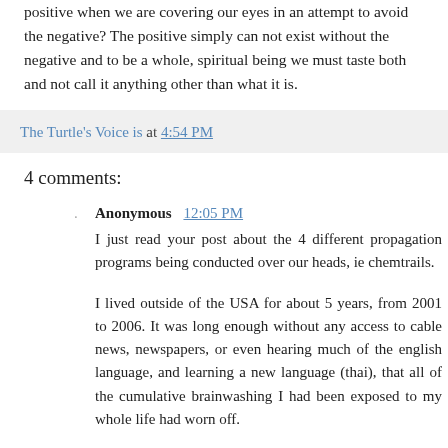positive when we are covering our eyes in an attempt to avoid the negative? The positive simply can not exist without the negative and to be a whole, spiritual being we must taste both and not call it anything other than what it is.
The Turtle's Voice is at 4:54 PM
4 comments:
Anonymous 12:05 PM
I just read your post about the 4 different propagation programs being conducted over our heads, ie chemtrails.
I lived outside of the USA for about 5 years, from 2001 to 2006. It was long enough without any access to cable news, newspapers, or even hearing much of the english language, and learning a new language (thai), that all of the cumulative brainwashing I had been exposed to my whole life had worn off.